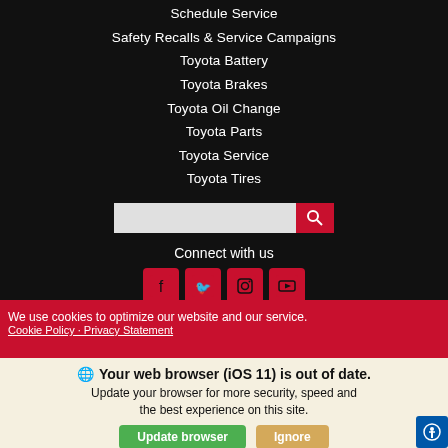Schedule Service
Safety Recalls & Service Campaigns
Toyota Battery
Toyota Brakes
Toyota Oil Change
Toyota Parts
Toyota Service
Toyota Tires
[Figure (screenshot): Search bar with red search button]
Connect with us
[Figure (infographic): Social media icons: Facebook, Twitter, Instagram, YouTube — each in red rounded square]
We use cookies to optimize our website and our service.
Cookie Policy · Privacy Statement
Your web browser (iOS 11) is out of date. Update your browser for more security, speed and the best experience on this site.
Update browser
Ignore